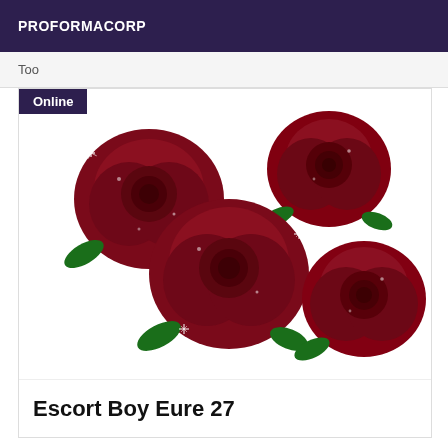PROFORMACORP
Too
[Figure (photo): Bouquet of dark red roses with water droplets and sparkle/glitter effects, on a white background. The badge 'Online' appears in the top-left corner over the image.]
Escort Boy Eure 27